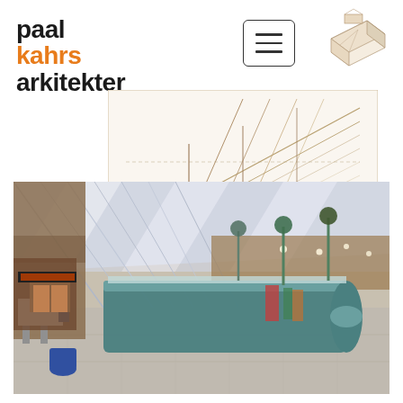paal kahrs arkitekter
[Figure (illustration): Hamburger menu button icon - three horizontal lines in a rounded rectangle]
[Figure (illustration): Architectural line sketch/axonometric drawing of a building, pencil style, top right corner]
[Figure (illustration): Architectural pencil sketch/technical drawing of a building roof or structure detail, center of page upper half]
[Figure (photo): Interior photograph of a large public building hall (likely an airport or museum) showing a long display counter/showcase in teal/blue, skylights with diagonal beams, warm wood paneling, and tiled floor]